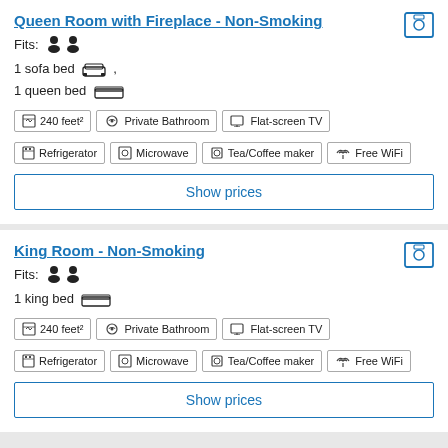Queen Room with Fireplace - Non-Smoking
Fits: 2 persons
1 sofa bed, 1 queen bed
240 feet²
Private Bathroom
Flat-screen TV
Refrigerator
Microwave
Tea/Coffee maker
Free WiFi
Show prices
King Room - Non-Smoking
Fits: 2 persons
1 king bed
240 feet²
Private Bathroom
Flat-screen TV
Refrigerator
Microwave
Tea/Coffee maker
Free WiFi
Show prices